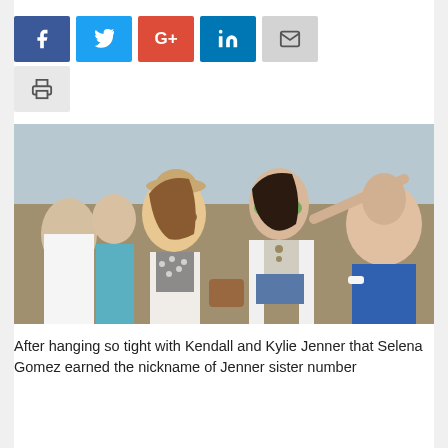[Figure (other): Social share buttons: Facebook (blue), Twitter (light blue), Google+ (red), LinkedIn (blue), Email (gray), Print (gray)]
[Figure (photo): Two young women at an outdoor festival (Coachella). One wearing a tan hat, floral lace outfit and sunglasses; the other taller in green mirrored aviators, crop top, denim shorts and a long white vest. Crowd visible in background.]
After hanging so tight with Kendall and Kylie Jenner that Selena Gomez earned the nickname of Jenner sister number